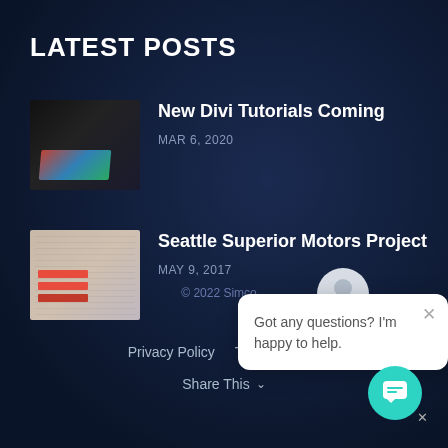LATEST POSTS
New Divi Tutorials Coming | MAR 6, 2020
Seattle Superior Motors Project | MAY 9, 2017
[Figure (screenshot): Chat popup overlay with avatar icon, close button, and message: Got any questions? I'm happy to help.]
© 2022 Simco...
Privacy Policy   Terms Of Use
Share This ∨